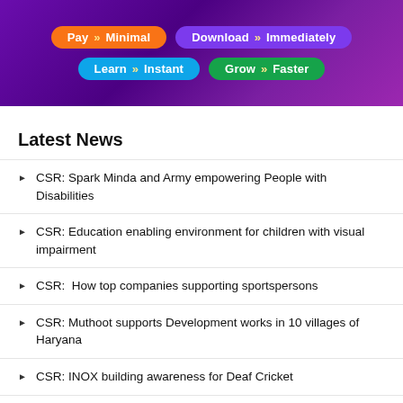[Figure (infographic): Purple gradient banner with colored pill buttons: 'Pay >> Minimal' (orange), 'Download >> Immediately' (purple), 'Learn >> Instant' (teal/blue), 'Grow >> Faster' (green)]
Latest News
CSR: Spark Minda and Army empowering People with Disabilities
CSR: Education enabling environment for children with visual impairment
CSR:  How top companies supporting sportspersons
CSR: Muthoot supports Development works in 10 villages of Haryana
CSR: INOX building awareness for Deaf Cricket
When Adolf Hitler offered German Citizenship to Dhyan Chand
CSR: NST hosted 42,000 audience in 2022-23